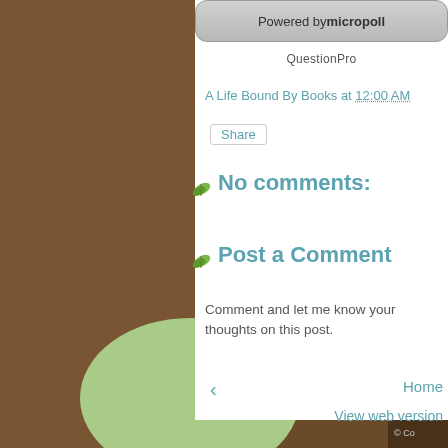[Figure (screenshot): Blog page screenshot with brown paper texture background on the left, white content panel on the right, green leaf decorations, and a light green circle at the bottom.]
Powered by micropoll
QuestionPro
A Life Bound By Books at 12:00 AM
Share
No comments:
Post a Comment
Comment and let me know your thoughts on this post.
‹
Home
View web version
© Co